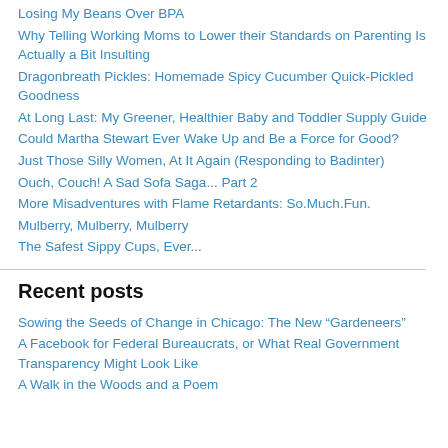Losing My Beans Over BPA
Why Telling Working Moms to Lower their Standards on Parenting Is Actually a Bit Insulting
Dragonbreath Pickles: Homemade Spicy Cucumber Quick-Pickled Goodness
At Long Last: My Greener, Healthier Baby and Toddler Supply Guide
Could Martha Stewart Ever Wake Up and Be a Force for Good?
Just Those Silly Women, At It Again (Responding to Badinter)
Ouch, Couch! A Sad Sofa Saga... Part 2
More Misadventures with Flame Retardants: So.Much.Fun.
Mulberry, Mulberry, Mulberry
The Safest Sippy Cups, Ever...
Recent posts
Sowing the Seeds of Change in Chicago: The New “Gardeneers”
A Facebook for Federal Bureaucrats, or What Real Government Transparency Might Look Like
A Walk in the Woods and a Poem